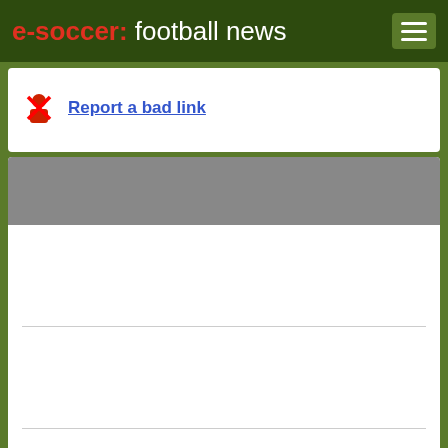e-soccer: football news
Report a bad link
[Figure (screenshot): Gray advertisement/widget banner area with white content panels separated by horizontal dividers]
[Figure (screenshot): Small white widget panel]
Share with: [Facebook] [Twitter] [StumbleUpon] [Delicious] [Digg] [Reddit]